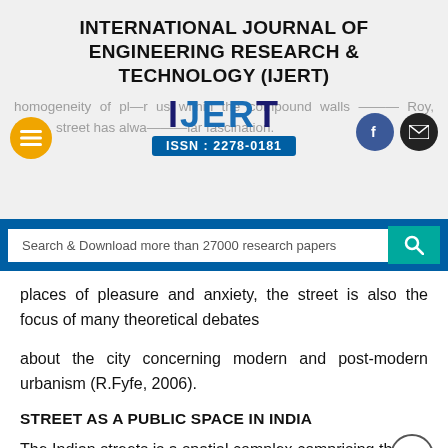INTERNATIONAL JOURNAL OF ENGINEERING RESEARCH & TECHNOLOGY (IJERT)
[Figure (logo): IJERT logo with blue text 'IJERT' and blue bar showing 'ISSN : 2278-0181', overlaid on faded background text about homogeneity and compound walls. Orange hamburger menu button on left, Facebook and email social icons on right.]
Search & Download more than 27000 research papers
places of pleasure and anxiety, the street is also the focus of many theoretical debates
about the city concerning modern and post-modern urbanism (R.Fyfe, 2006).
STREET AS A PUBLIC SPACE IN INDIA
The Indian streets is a spatial complex comprising the fair and the bazaar by generating